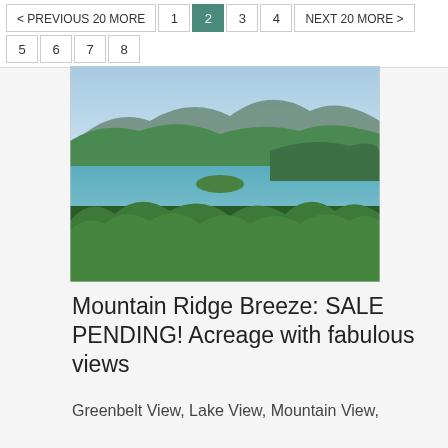< PREVIOUS 20 MORE  1  2  3  4   NEXT 20 MORE >  5  6  7  8
[Figure (photo): Aerial landscape photo showing a lake surrounded by green forested hills and mountains in the background, with lush green trees in the foreground.]
Mountain Ridge Breeze: SALE PENDING! Acreage with fabulous views
Greenbelt View, Lake View, Mountain View,